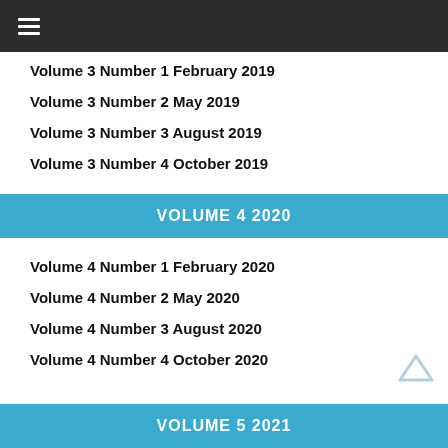≡
Volume 3 Number 1 February 2019
Volume 3 Number 2 May 2019
Volume 3 Number 3 August 2019
Volume 3 Number 4 October 2019
VOLUME 4 2020
Volume 4 Number 1 February 2020
Volume 4 Number 2 May 2020
Volume 4 Number 3 August 2020
Volume 4 Number 4 October 2020
VOLUME 5 2021